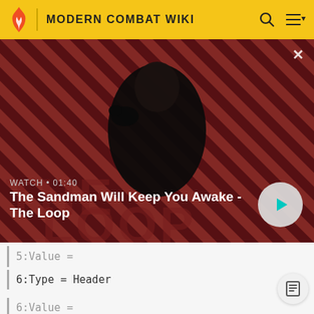MODERN COMBAT WIKI
[Figure (screenshot): Video thumbnail showing a dark-cloaked figure with a raven on shoulder against a red striped background. Text overlay: WATCH • 01:40, The Sandman Will Keep You Awake - The Loop. Play button on right.]
| 5:Value =
| 6:Type = Header
| 6:Value =
Statistics